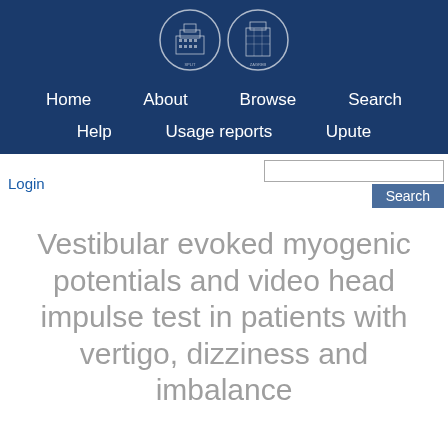[Figure (logo): Two institutional seals/logos side by side on dark blue background - university emblems]
Home   About   Browse   Search   Help   Usage reports   Upute
Login
Vestibular evoked myogenic potentials and video head impulse test in patients with vertigo, dizziness and imbalance